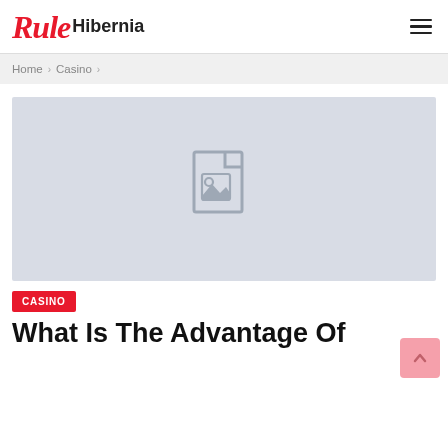Rule Hibernia
Home > Casino >
[Figure (illustration): Placeholder image with grey background showing a generic image/document icon (file with mountain landscape placeholder graphic)]
CASINO
What Is The Advantage Of